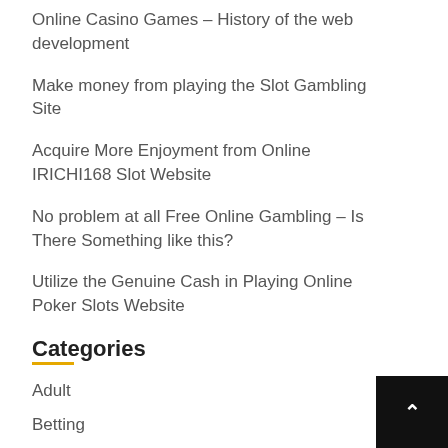Online Casino Games – History of the web development
Make money from playing the Slot Gambling Site
Acquire More Enjoyment from Online IRICHI168 Slot Website
No problem at all Free Online Gambling – Is There Something like this?
Utilize the Genuine Cash in Playing Online Poker Slots Website
Categories
Adult
Betting